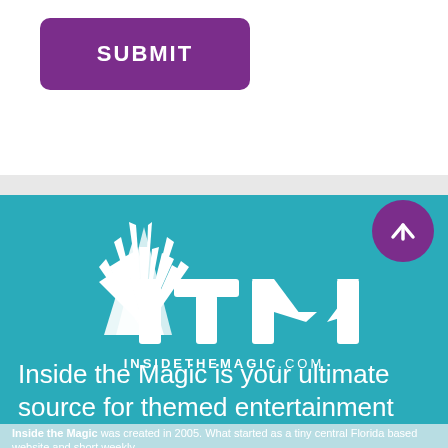[Figure (other): Purple rounded rectangle Submit button]
[Figure (logo): ITM Inside the Magic logo on teal background with starburst graphic]
Inside the Magic is your ultimate source for themed entertainment coverage.
Inside the Magic was created in 2005. What started as a tiny central Florida based website and short weekly